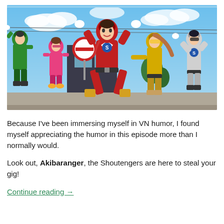[Figure (illustration): Anime screenshot showing a group of colorful costumed superhero characters (Shoutengers) posing outdoors with arms raised. Central figure wears red suit, others wear green, pink, yellow, and white/grey outfits. Blue sky with clouds in background, street signs and buildings visible.]
Because I’ve been immersing myself in VN humor, I found myself appreciating the humor in this episode more than I normally would.
Look out, Akibaranger, the Shoutengers are here to steal your gig!
Continue reading →